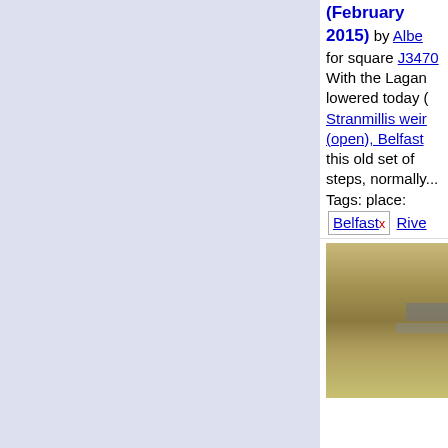[Figure (photo): Thumbnail photo of rocky riverbed with steps visible, lowered River Lagan]
(February 2015) by Albe for square J3470
With the Lagan lowered today (Stranmillis weir (open), Belfast this old set of steps, normally...
Tags: place: Belfast x River
River Lagan   Riverbank x
top: Rivers, Streams, Draina
subject: Steps x
[Figure (photo): Thumbnail photo of lowered River Lagan with grassy banks and water reflection]
The lowered Lagan, Bel February 2015(1) by Alb geograph for square J347
The lowered River Lagan (see Stranmillis weir (open), Belfast a short distance upstream from
Tags: place: Belfast x  subje
River x   River Lagan   Rive
top: Rivers, Streams, Draina
Stranmillis (Belfast) x  Ther
The Stranmillis Gatewa Lagan, Belfast (May 201 Bridge